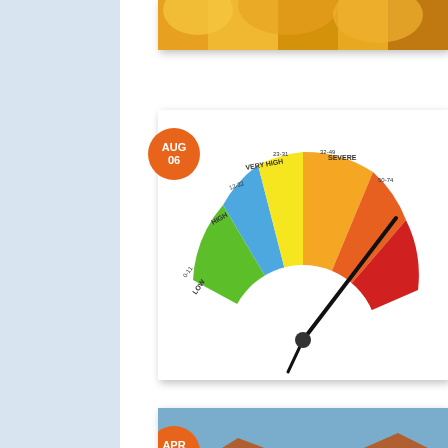[Figure (photo): Autumn yellow/orange foliage trees - partial view top right]
[Figure (infographic): Fire danger gauge meter showing severity levels from low (green) to extreme (red), needle pointing to severe/high range. Date badge: AUG 06]
[Figure (photo): Hillside landscape at sunset with orange/brown hills and valley below. Date badge: APR 01]
[Figure (photo): Close-up of typewritten text showing F.Y.I. with metal clamps/fasteners. Date badge: MAR 14]